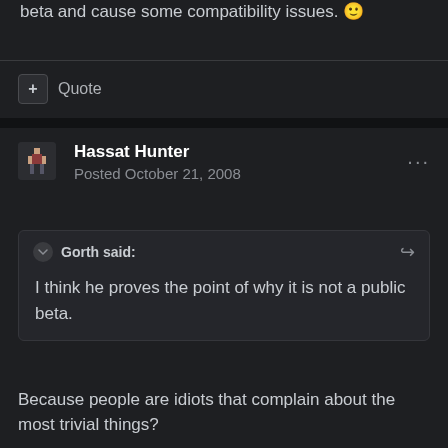beta and cause some compatibility issues. 🙂
+ Quote
Hassat Hunter
Posted October 21, 2008
Gorth said:
I think he proves the point of why it is not a public beta.
Because people are idiots that complain about the most trivial things?